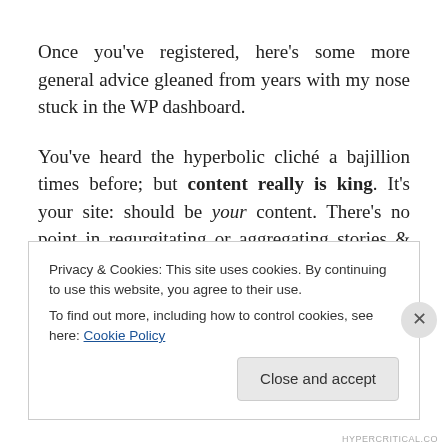Once you've registered, here's some more general advice gleaned from years with my nose stuck in the WP dashboard.
You've heard the hyperbolic cliché a bajillion times before; but content really is king. It's your site: should be your content. There's no point in regurgitating or aggregating stories & content from established movie news sites like
Privacy & Cookies: This site uses cookies. By continuing to use this website, you agree to their use.
To find out more, including how to control cookies, see here: Cookie Policy
Close and accept